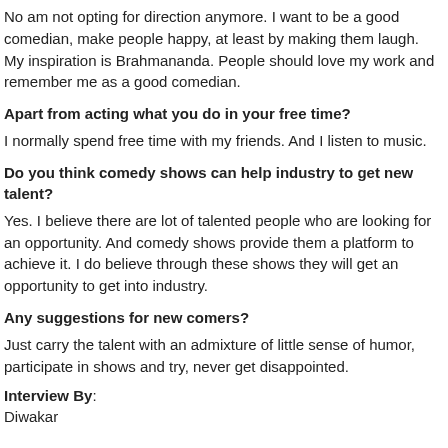No am not opting for direction anymore. I want to be a good comedian, make people happy, at least by making them laugh. My inspiration is Brahmananda. People should love my work and remember me as a good comedian.
Apart from acting what you do in your free time?
I normally spend free time with my friends. And I listen to music.
Do you think comedy shows can help industry to get new talent?
Yes. I believe there are lot of talented people who are looking for an opportunity. And comedy shows provide them a platform to achieve it. I do believe through these shows they will get an opportunity to get into industry.
Any suggestions for new comers?
Just carry the talent with an admixture of little sense of humor, participate in shows and try, never get disappointed.
Interview By:
Diwakar